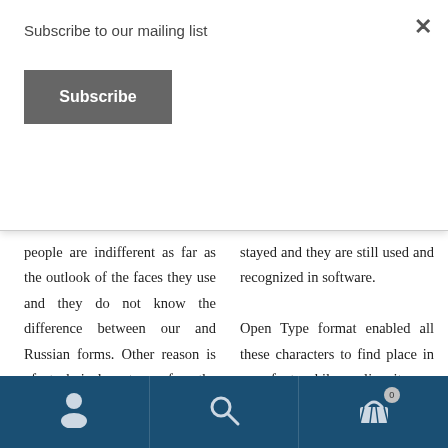Subscribe to our mailing list
Subscribe
people are indifferent as far as the outlook of the faces they use and they do not know the difference between our and Russian forms. Other reason is of technical nature, for the Cyrillic forms originating from abroad, including Unicode fonts used at
stayed and they are still used and recognized in software.

Open Type format enabled all these characters to find place in one font while earlier it was necessary to make special fonts (which